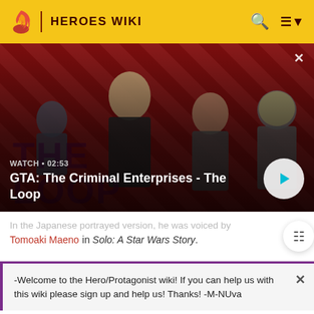HEROES WIKI
[Figure (screenshot): GTA: The Criminal Enterprises - The Loop video thumbnail with characters on striped red/dark background. WATCH • 02:53 label visible.]
GTA: The Criminal Enterprises - The Loop
In the Japanese portrayed version, he was voiced by Tomoaki Maeno in Solo: A Star Wars Story.
-Welcome to the Hero/Protagonist wiki! If you can help us with this wiki please sign up and help us! Thanks! -M-NUva